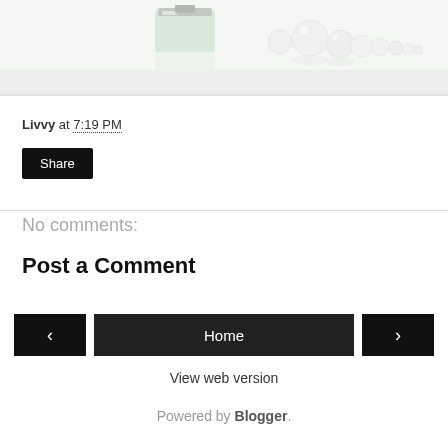[Figure (photo): Product photo showing cosmetic cream jar and pearl beads on white reflective surface]
Livvy at 7:19 PM
Share
No comments:
Post a Comment
‹
Home
›
View web version
Powered by Blogger.